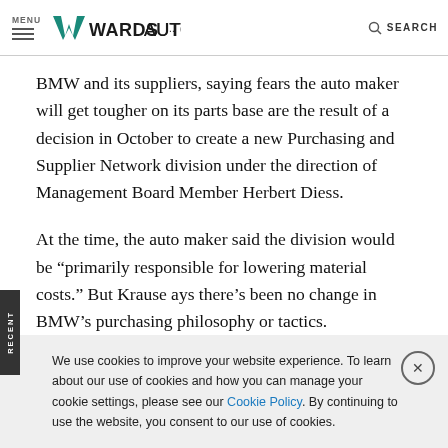MENU | WARDSAUTO | SEARCH
BMW and its suppliers, saying fears the auto maker will get tougher on its parts base are the result of a decision in October to create a new Purchasing and Supplier Network division under the direction of Management Board Member Herbert Diess.
At the time, the auto maker said the division would be “primarily responsible for lowering material costs.” But Krause ays there’s been no change in BMW’s purchasing philosophy or tactics.
We use cookies to improve your website experience. To learn about our use of cookies and how you can manage your cookie settings, please see our Cookie Policy. By continuing to use the website, you consent to our use of cookies.